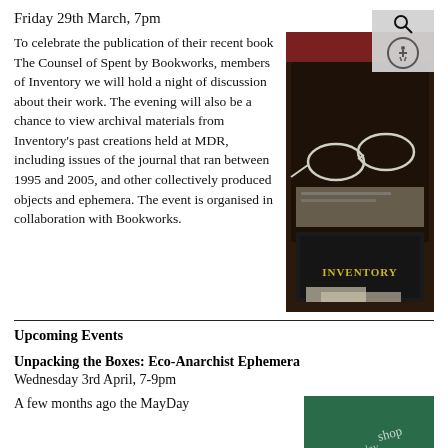Friday 29th March, 7pm
To celebrate the publication of their recent book The Counsel of Spent by Bookworks, members of Inventory we will hold a night of discussion about their work. The evening will also be a chance to view archival materials from Inventory's past creations held at MDR, including issues of the journal that ran between 1995 and 2005, and other collectively produced objects and ephemera. The event is organised in collaboration with Bookworks.
[Figure (photo): A dark wooden box or case open, with spectacles/glasses resting on what appears to be papers or documents. A book or journal with 'INVENTORY' printed in yellow/gold text on its cover is visible.]
Upcoming Events
Unpacking the Boxes: Eco-Anarchist Ephemera
Wednesday 3rd April, 7-9pm
A few months ago the MayDay
[Figure (photo): Partial view of what appears to be a green background with some text/handwriting visible at bottom right of page.]